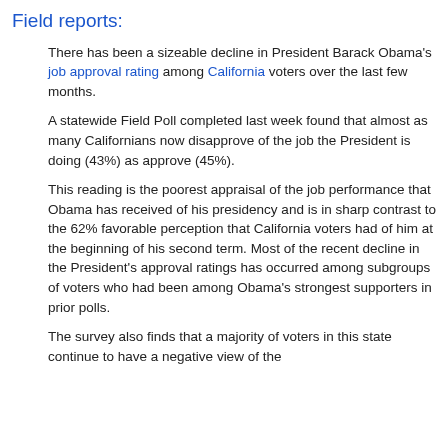Field reports:
There has been a sizeable decline in President Barack Obama's job approval rating among California voters over the last few months.
A statewide Field Poll completed last week found that almost as many Californians now disapprove of the job the President is doing (43%) as approve (45%).
This reading is the poorest appraisal of the job performance that Obama has received of his presidency and is in sharp contrast to the 62% favorable perception that California voters had of him at the beginning of his second term. Most of the recent decline in the President's approval ratings has occurred among subgroups of voters who had been among Obama's strongest supporters in prior polls.
The survey also finds that a majority of voters in this state continue to have a negative view of the